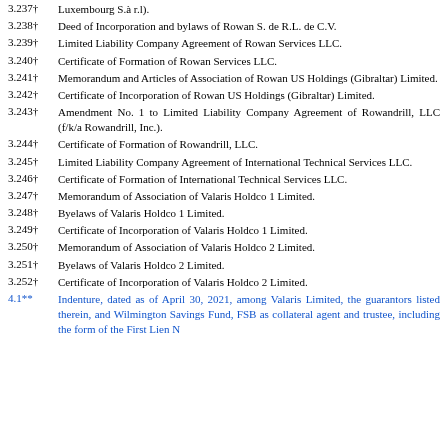3.237†  Amended Articles of Association of Rowan High 314 mq(p) d.o.o. (Attends Luxembourg S.à r.l).
3.238†  Deed of Incorporation and bylaws of Rowan S. de R.L. de C.V.
3.239†  Limited Liability Company Agreement of Rowan Services LLC.
3.240†  Certificate of Formation of Rowan Services LLC.
3.241†  Memorandum and Articles of Association of Rowan US Holdings (Gibraltar) Limited.
3.242†  Certificate of Incorporation of Rowan US Holdings (Gibraltar) Limited.
3.243†  Amendment No. 1 to Limited Liability Company Agreement of Rowandrill, LLC (f/k/a Rowandrill, Inc.).
3.244†  Certificate of Formation of Rowandrill, LLC.
3.245†  Limited Liability Company Agreement of International Technical Services LLC.
3.246†  Certificate of Formation of International Technical Services LLC.
3.247†  Memorandum of Association of Valaris Holdco 1 Limited.
3.248†  Byelaws of Valaris Holdco 1 Limited.
3.249†  Certificate of Incorporation of Valaris Holdco 1 Limited.
3.250†  Memorandum of Association of Valaris Holdco 2 Limited.
3.251†  Byelaws of Valaris Holdco 2 Limited.
3.252†  Certificate of Incorporation of Valaris Holdco 2 Limited.
4.1**  Indenture, dated as of April 30, 2021, among Valaris Limited, the guarantors listed therein, and Wilmington Savings Fund, FSB as collateral agent and trustee, including the form of the First Lien N...